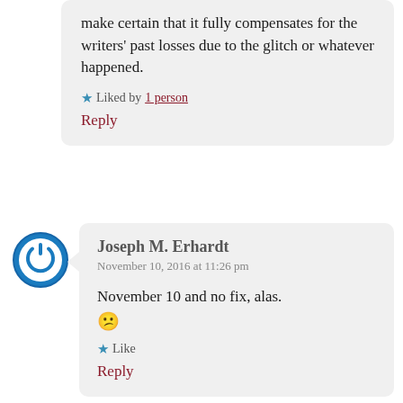make certain that it fully compensates for the writers' past losses due to the glitch or whatever happened.
Liked by 1 person
Reply
Joseph M. Erhardt
November 10, 2016 at 11:26 pm
November 10 and no fix, alas.
Like
Reply